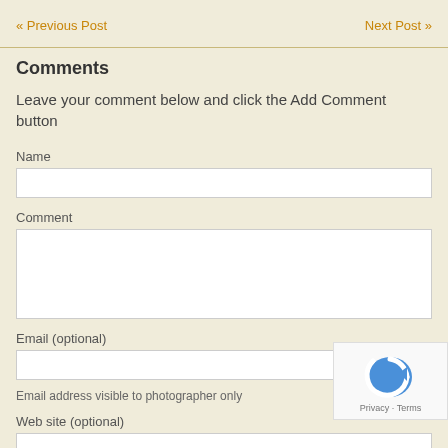« Previous Post
Next Post »
Comments
Leave your comment below and click the Add Comment button
Name
Comment
Email (optional)
Email address visible to photographer only
Web site (optional)